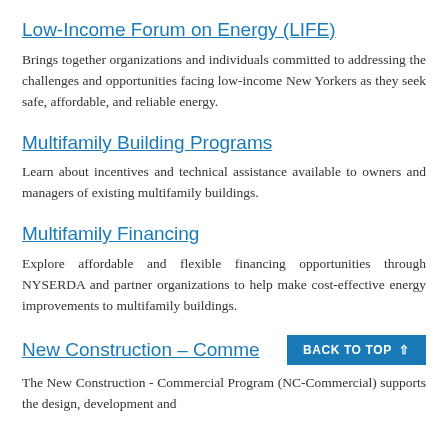Low-Income Forum on Energy (LIFE)
Brings together organizations and individuals committed to addressing the challenges and opportunities facing low-income New Yorkers as they seek safe, affordable, and reliable energy.
Multifamily Building Programs
Learn about incentives and technical assistance available to owners and managers of existing multifamily buildings.
Multifamily Financing
Explore affordable and flexible financing opportunities through NYSERDA and partner organizations to help make cost-effective energy improvements to multifamily buildings.
New Construction – Comme
The New Construction - Commercial Program (NC-Commercial) supports the design, development and